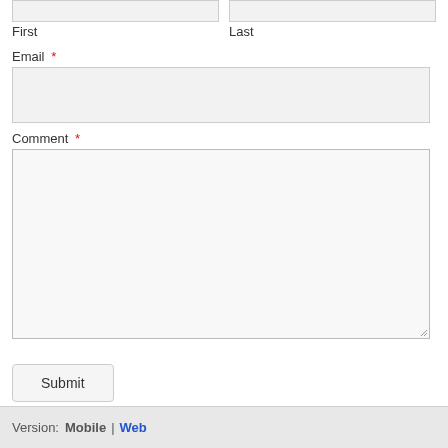First
Last
Email *
Comment *
Submit
Version:  Mobile | Web